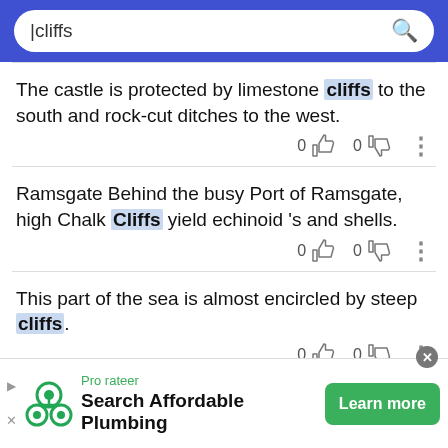[Figure (screenshot): Search bar with query 'cliffs' on blue background]
The castle is protected by limestone cliffs to the south and rock-cut ditches to the west.
Ramsgate Behind the busy Port of Ramsgate, high Chalk Cliffs yield echinoid 's and shells.
This part of the sea is almost encircled by steep cliffs.
[Figure (infographic): Advertisement banner: Prorateer Search Affordable Plumbing with Learn more button]